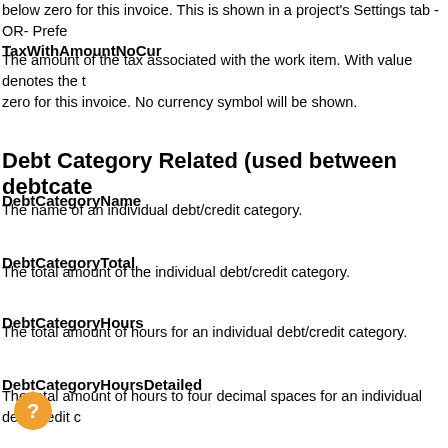below zero for this invoice. This is shown in a project's Settings tab -OR- Prefe
TaxWithAmountNoCur
The amount of the tax associated with the work item. With value denotes the tax zero for this invoice. No currency symbol will be shown.
Debt Category Related (used between debtcate
DebtCategoryName
The name of an individual debt/credit category.
DebtCategoryTotal
The total amount of the individual debt/credit category.
DebtCategoryHours
The total amount of hours for an individual debt/credit category.
DebtCategoryHoursDetailed
The total amount of hours to four decimal spaces for an individual debt/credit c